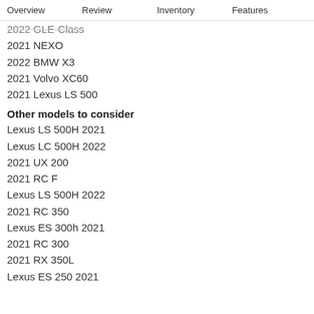Overview  Review  Inventory  Features
2022 GLE-Class
2021 NEXO
2022 BMW X3
2021 Volvo XC60
2021 Lexus LS 500
Other models to consider
Lexus LS 500H 2021
Lexus LC 500H 2022
2021 UX 200
2021 RC F
Lexus LS 500H 2022
2021 RC 350
Lexus ES 300h 2021
2021 RC 300
2021 RX 350L
Lexus ES 250 2021